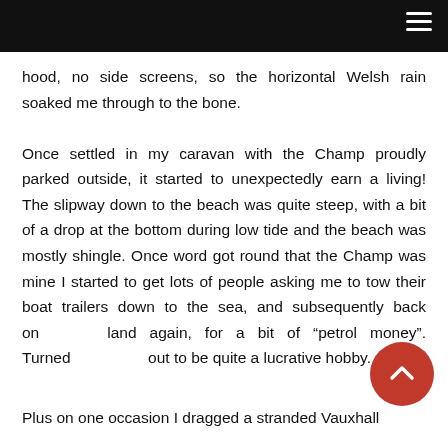participate and race to the ferry last of the boat, plus it took most of the day. It only sported a canvas hood, no side screens, so the horizontal Welsh rain soaked me through to the bone.
Once settled in my caravan with the Champ proudly parked outside, it started to unexpectedly earn a living! The slipway down to the beach was quite steep, with a bit of a drop at the bottom during low tide and the beach was mostly shingle. Once word got round that the Champ was mine I started to get lots of people asking me to tow their boat trailers down to the sea, and subsequently back onto land again, for a bit of “petrol money”. Turned out to be quite a lucrative hobby.
Plus on one occasion I dragged a stranded Vauxhall